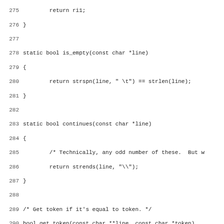[Figure (other): Source code listing in C, lines 275-307, showing functions is_empty, continues, and get_token]